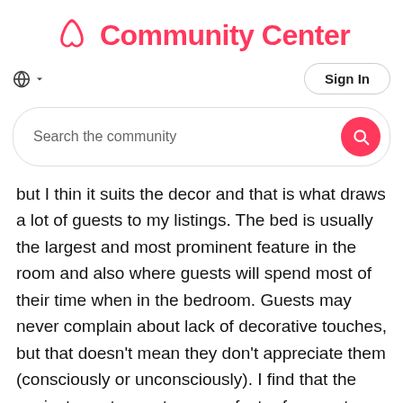Community Center
[Figure (logo): Airbnb Community Center logo with Airbnb icon and text]
Search the community
but I thin it suits the decor and that is what draws a lot of guests to my listings. The bed is usually the largest and most prominent feature in the room and also where guests will spend most of their time when in the bedroom. Guests may never complain about lack of decorative touches, but that doesn't mean they don't appreciate them (consciously or unconsciously). I find that the easiest way to create a wow factor for guests when they enter the bedroom is to have a well dressed, luxurious looking bed. Just don't go so OTT that guests are struggling to have space in the bed for themselves!